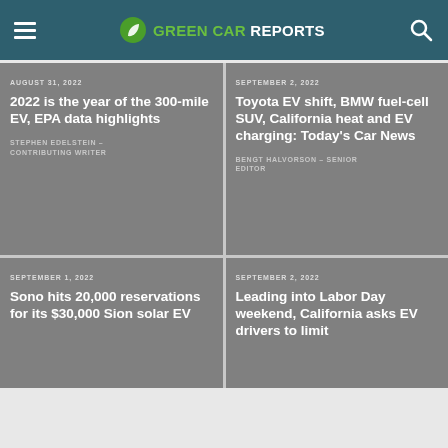GREEN CAR REPORTS
AUGUST 31, 2022
2022 is the year of the 300-mile EV, EPA data highlights
STEPHEN EDELSTEIN – CONTRIBUTING WRITER
SEPTEMBER 2, 2022
Toyota EV shift, BMW fuel-cell SUV, California heat and EV charging: Today's Car News
BENGT HALVORSON – SENIOR EDITOR
SEPTEMBER 1, 2022
Sono hits 20,000 reservations for its $30,000 Sion solar EV
SEPTEMBER 2, 2022
Leading into Labor Day weekend, California asks EV drivers to limit